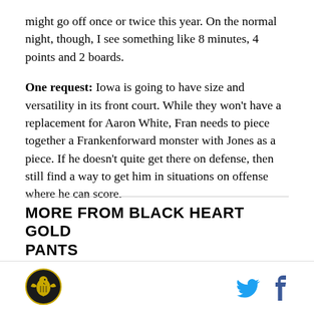might go off once or twice this year. On the normal night, though, I see something like 8 minutes, 4 points and 2 boards.
One request: Iowa is going to have size and versatility in its front court. While they won't have a replacement for Aaron White, Fran needs to piece together a Frankenforward monster with Jones as a piece. If he doesn't quite get there on defense, then still find a way to get him in situations on offense where he can score.
MORE FROM BLACK HEART GOLD PANTS
[Figure (logo): Black Heart Gold Pants site logo — circular gold and black emblem with a bird/hawk figure]
[Figure (other): Social media icons: Twitter bird icon in blue and Facebook 'f' icon in blue]